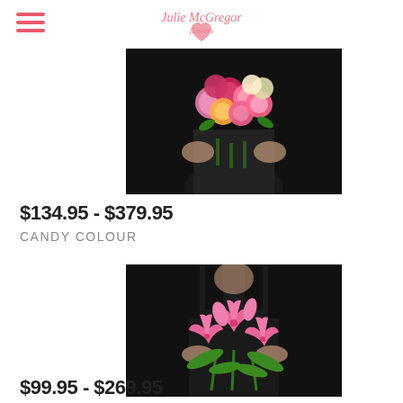Julie McGregor Flowers
[Figure (photo): Person in black dress holding a large colorful bouquet of carnations (pink, orange, purple, white) against a dark background]
$134.95 - $379.95
CANDY COLOUR
[Figure (photo): Person in black dress holding a large bouquet of pink stargazer lilies with green leaves against a dark background]
$99.95 - $269.95